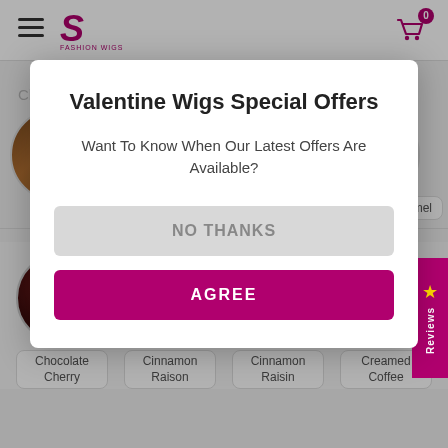[Figure (screenshot): E-commerce website header with hamburger menu, logo, and shopping cart icon with badge showing 0]
Choose Y
[Figure (photo): Circular hair color swatch samples including Almond B, Cream, and Caramel colors in top row]
Valentine Wigs Special Offers
Want To Know When Our Latest Offers Are Available?
NO THANKS
AGREE
[Figure (photo): Four circular hair color swatch samples: Chocolate Cherry (dark red), Cinnamon Raison (medium brown), Cinnamon Raisin (medium brown), Creamed Coffee (light brown/blonde)]
Chocolate Cherry
Cinnamon Raison
Cinnamon Raisin
Creamed Coffee